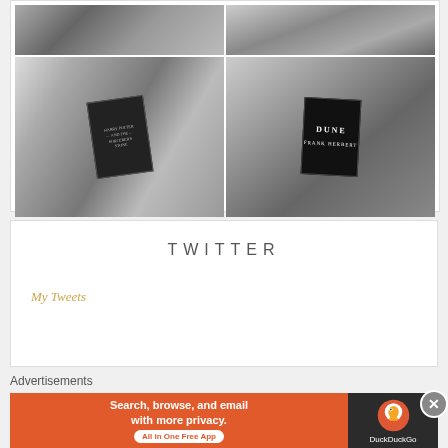[Figure (photo): 2x2 grid of black and white book photography images. Top row: two partial book images. Bottom row: left shows a dark book cover open on pages, right shows 'Dune' by Frank Herbert book cover on fabric.]
TWITTER
My Tweets
Advertisements
[Figure (photo): DuckDuckGo advertisement banner: 'Search, browse, and email with more privacy. All in One Free App' on orange background with DuckDuckGo logo on dark right side.]